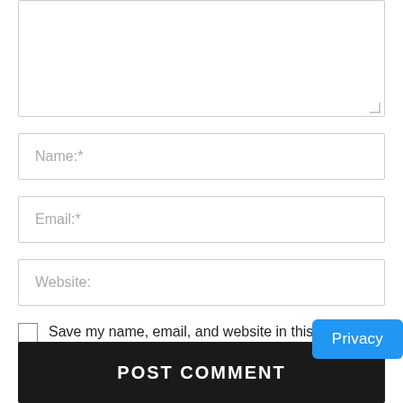[Figure (screenshot): Comment text area input field (partial, top of page)]
Name:*
Email:*
Website:
Save my name, email, and website in this browser for the next time I comment.
Privacy
POST COMMENT